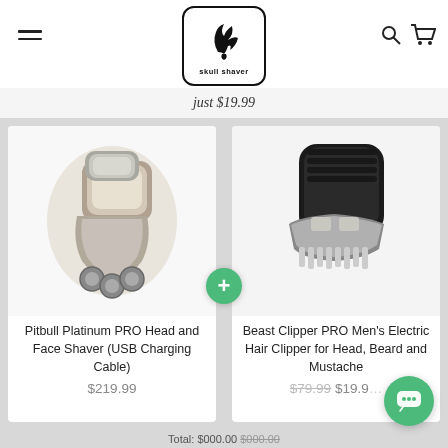Skull Shaver logo, hamburger menu, search and cart icons
just $19.99
[Figure (photo): Pitbull Platinum PRO Head and Face Shaver product photo (silver/chrome electric shaver)]
[Figure (photo): Beast Clipper PRO Men's Electric Hair Clipper product photo (black electric clipper)]
Pitbull Platinum PRO Head and Face Shaver (USB Charging Cable)
$219.99
Beast Clipper PRO Men's Electric Hair Clipper for Head, Beard and Mustache
$79.99 $19.99
Total: $000.00 $000.00